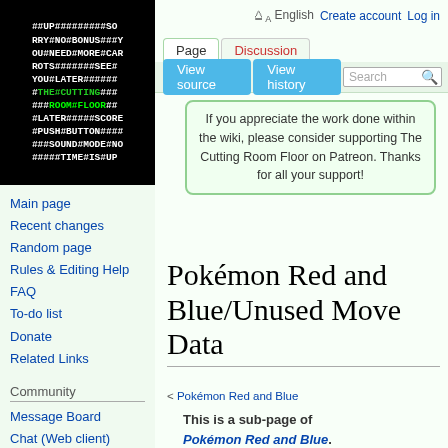[Figure (logo): The Cutting Room Floor logo — black background with white monospace text containing hash symbols and green highlighted words THE CUTTING ROOM FLOOR]
English  Create account  Log in
Page
Discussion
View source
View history
If you appreciate the work done within the wiki, please consider supporting The Cutting Room Floor on Patreon. Thanks for all your support!
Main page
Recent changes
Random page
Rules & Editing Help
FAQ
To-do list
Donate
Related Links
Community
Message Board
Chat (Web client)
Chat (IRC)
Discord
Pokémon Red and Blue/Unused Move Data
< Pokémon Red and Blue
This is a sub-page of Pokémon Red and Blue.